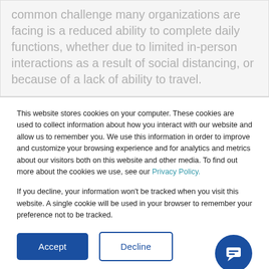common challenge many organizations are facing is a reduced ability to complete daily functions, whether due to limited in-person interactions as a result of social distancing, or because of a lack of ability to travel.
This website stores cookies on your computer. These cookies are used to collect information about how you interact with our website and allow us to remember you. We use this information in order to improve and customize your browsing experience and for analytics and metrics about our visitors both on this website and other media. To find out more about the cookies we use, see our Privacy Policy.
If you decline, your information won't be tracked when you visit this website. A single cookie will be used in your browser to remember your preference not to be tracked.
[Figure (other): Two buttons: 'Accept' (blue filled) and 'Decline' (blue outline), and a blue circular chat icon on the right.]